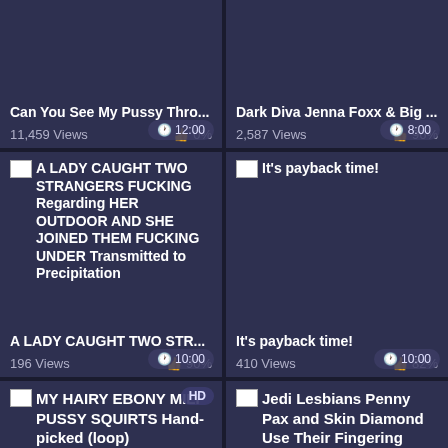[Figure (screenshot): Video thumbnail card: Can You See My Pussy Thro... 11,459 Views 0% 12:00]
[Figure (screenshot): Video thumbnail card: Dark Diva Jenna Foxx & Big ... 2,587 Views 96% 8:00]
[Figure (screenshot): Video thumbnail card: A LADY CAUGHT TWO STR... 196 Views 90% 10:00]
[Figure (screenshot): Video thumbnail card: It's payback time! 410 Views 82% 10:00]
[Figure (screenshot): Video thumbnail card: MY HAIRY EBONY MILF PUSSY SQUIRTS Hand-picked (loop) HD 6:09]
[Figure (screenshot): Video thumbnail card: Jedi Lesbians Penny Pax and Skin Diamond Use Their Fingering Forze! 6:00]